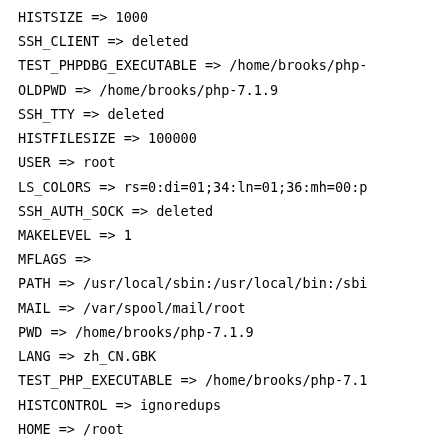HISTSIZE => 1000
SSH_CLIENT => deleted
TEST_PHPDBG_EXECUTABLE => /home/brooks/php-
OLDPWD => /home/brooks/php-7.1.9
SSH_TTY => deleted
HISTFILESIZE => 100000
USER => root
LS_COLORS => rs=0:di=01;34:ln=01;36:mh=00:p
SSH_AUTH_SOCK => deleted
MAKELEVEL => 1
MFLAGS =>
PATH => /usr/local/sbin:/usr/local/bin:/sbi
MAIL => /var/spool/mail/root
PWD => /home/brooks/php-7.1.9
LANG => zh_CN.GBK
TEST_PHP_EXECUTABLE => /home/brooks/php-7.1
HISTCONTROL => ignoredups
HOME => /root
SHLVL => 3